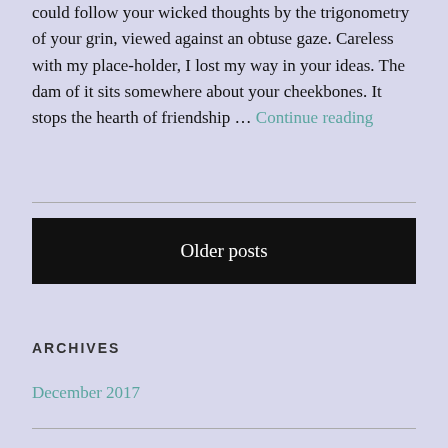could follow your wicked thoughts by the trigonometry of your grin, viewed against an obtuse gaze. Careless with my place-holder, I lost my way in your ideas. The dam of it sits somewhere about your cheekbones. It stops the hearth of friendship ... Continue reading
Older posts
ARCHIVES
December 2017